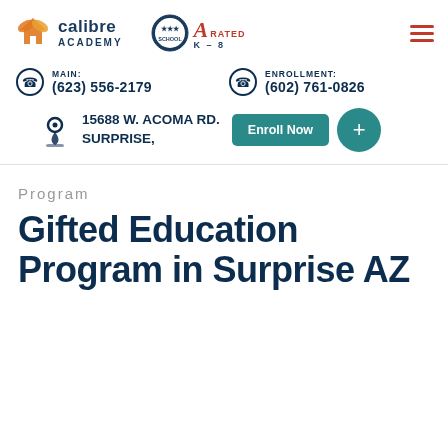[Figure (logo): Calibre Academy logo with orange leaf/book icon and text 'calibre ACADEMY']
[Figure (logo): A-Rated K-8 badge with school seal]
MAIN: (623) 556-2179
ENROLLMENT: (602) 761-0826
15688 W. ACOMA RD. SURPRISE,
Enroll Now
Program
Gifted Education Program in Surprise AZ